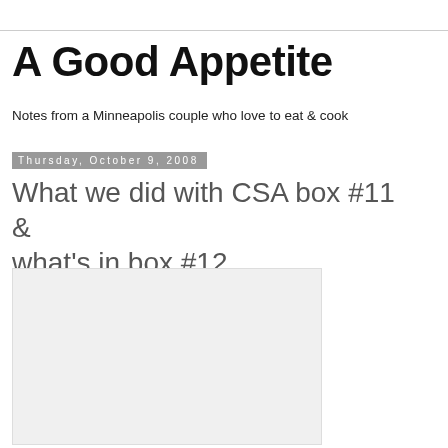A Good Appetite
Notes from a Minneapolis couple who love to eat & cook
Thursday, October 9, 2008
What we did with CSA box #11 & what's in box #12
[Figure (photo): A blank/white image placeholder rectangle]